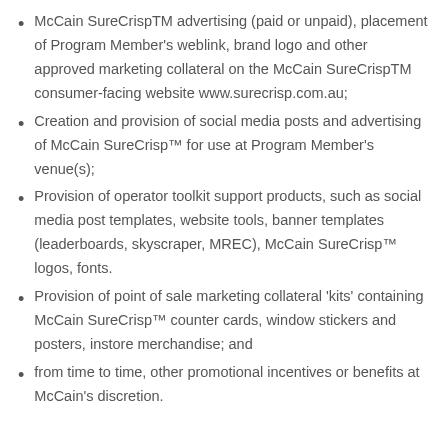McCain SureCrispTM advertising (paid or unpaid), placement of Program Member's weblink, brand logo and other approved marketing collateral on the McCain SureCrispTM consumer-facing website www.surecrisp.com.au;
Creation and provision of social media posts and advertising of McCain SureCrisp™ for use at Program Member's venue(s);
Provision of operator toolkit support products, such as social media post templates, website tools, banner templates (leaderboards, skyscraper, MREC), McCain SureCrisp™ logos, fonts.
Provision of point of sale marketing collateral 'kits' containing McCain SureCrisp™ counter cards, window stickers and posters, instore merchandise; and
from time to time, other promotional incentives or benefits at McCain's discretion.